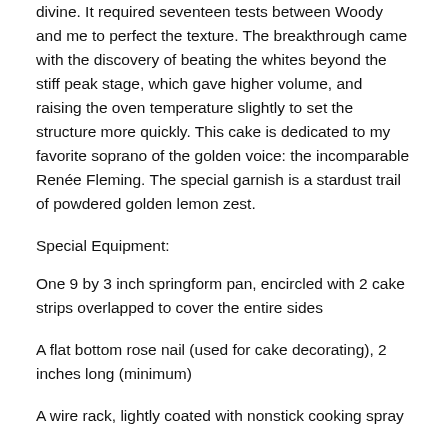divine. It required seventeen tests between Woody and me to perfect the texture. The breakthrough came with the discovery of beating the whites beyond the stiff peak stage, which gave higher volume, and raising the oven temperature slightly to set the structure more quickly. This cake is dedicated to my favorite soprano of the golden voice: the incomparable Renée Fleming. The special garnish is a stardust trail of powdered golden lemon zest.
Special Equipment:
One 9 by 3 inch springform pan, encircled with 2 cake strips overlapped to cover the entire sides
A flat bottom rose nail (used for cake decorating), 2 inches long (minimum)
A wire rack, lightly coated with nonstick cooking spray